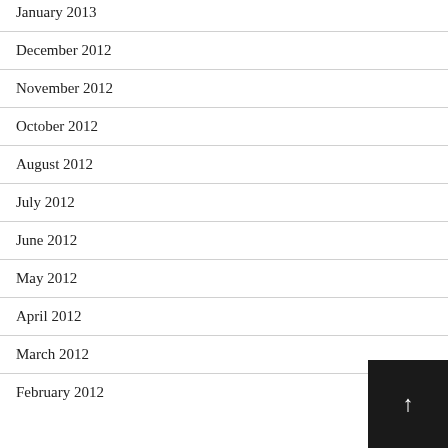January 2013
December 2012
November 2012
October 2012
August 2012
July 2012
June 2012
May 2012
April 2012
March 2012
February 2012